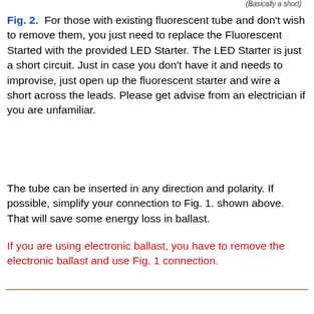(Basically a short)
Fig. 2.  For those with existing fluorescent tube and don't wish to remove them, you just need to replace the Fluorescent Started with the provided LED Starter. The LED Starter is just a short circuit. Just in case you don't have it and needs to improvise, just open up the fluorescent starter and wire a short across the leads. Please get advise from an electrician if you are unfamiliar.
The tube can be inserted in any direction and polarity. If possible, simplify your connection to Fig. 1. shown above. That will save some energy loss in ballast.
If you are using electronic ballast, you have to remove the electronic ballast and use Fig. 1 connection.
[Figure (schematic): AC label and Ballast component diagram at bottom of page]